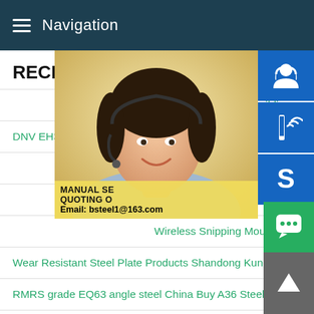Navigation
RECENT NEWS
KR Grade E63 Shipbuilding
DNV EH36 Steel plate DNV EH36 ship
CCS E application steel p
BS EN 10084
Wireless Snipping Mouse G9
Wear Resistant Steel Plate Products Shandong Kunda Iro
RMRS grade EQ63 angle steel China Buy A36 Steel Plate
[Figure (photo): Woman with headset, customer service representative, with overlaid contact info box showing MANUAL SE..., QUOTING O..., Email: bsteel1@163.com]
[Figure (infographic): Three blue square icons: headset/customer service icon, phone with signal icon, Skype (S) icon]
[Figure (infographic): Green chat bubble button and grey up-arrow button in bottom right corner]